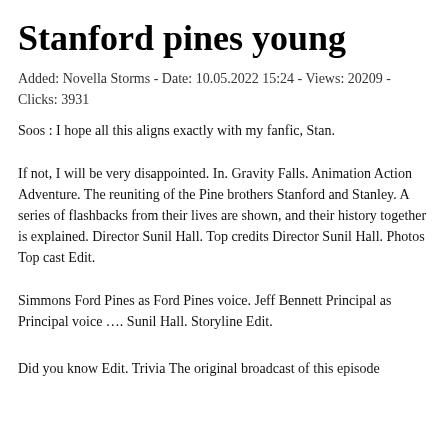Stanford pines young
Added: Novella Storms - Date: 10.05.2022 15:24 - Views: 20209 - Clicks: 3931
Soos : I hope all this aligns exactly with my fanfic, Stan.
If not, I will be very disappointed. In. Gravity Falls. Animation Action Adventure. The reuniting of the Pine brothers Stanford and Stanley. A series of flashbacks from their lives are shown, and their history together is explained. Director Sunil Hall. Top credits Director Sunil Hall. Photos Top cast Edit.
Simmons Ford Pines as Ford Pines voice. Jeff Bennett Principal as Principal voice …. Sunil Hall. Storyline Edit.
Did you know Edit. Trivia The original broadcast of this episode